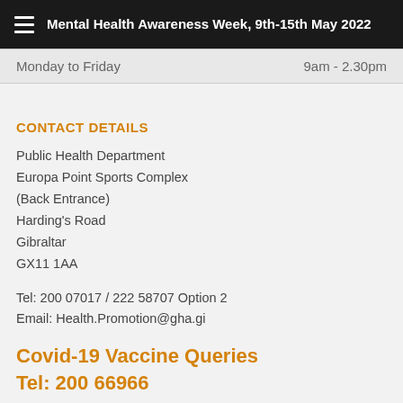Mental Health Awareness Week, 9th-15th May 2022
Monday to Friday    9am - 2.30pm
CONTACT DETAILS
Public Health Department
Europa Point Sports Complex
(Back Entrance)
Harding's Road
Gibraltar
GX11 1AA
Tel: 200 07017 / 222 58707 Option 2
Email: Health.Promotion@gha.gi
Covid-19 Vaccine Queries
Tel: 200 66966